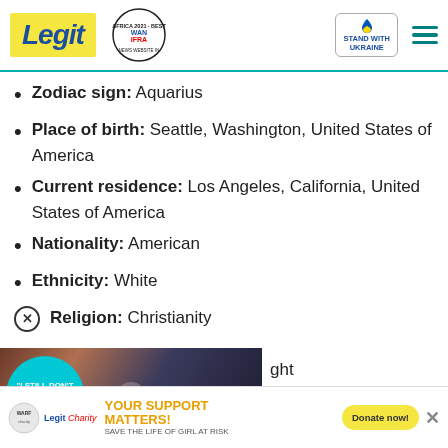Legit - Best News Website in Africa 2021 WAN IFRA - Stand with Ukraine
Zodiac sign: Aquarius
Place of birth: Seattle, Washington, United States of America
Current residence: Los Angeles, California, United States of America
Nationality: American
Ethnicity: White
Religion: Christianity
[Figure (photo): Video thumbnail showing a couple at a formal event with text bubble 'I STILL DON'T THINK I'M HIS TYPE']
[Figure (infographic): Advertisement banner: YOUR SUPPORT MATTERS! SAVE THE LIFE OF GIRL AT RISK - Legit Charity / WARF - Donate now!]